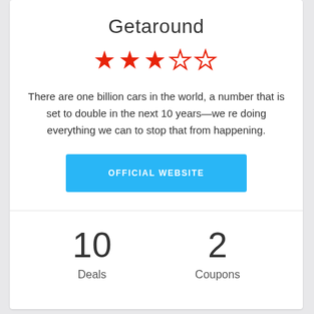Getaround
[Figure (other): Star rating: 3 out of 5 stars (3 filled red stars, 1 outlined red star, 1 outlined red star)]
There are one billion cars in the world, a number that is set to double in the next 10 years—we re doing everything we can to stop that from happening.
OFFICIAL WEBSITE
10
Deals
2
Coupons